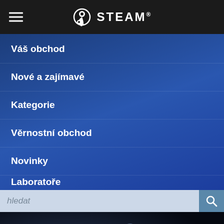STEAM
Váš obchod
Nové a zajímavé
Kategorie
Věrnostní obchod
Novinky
Laboratoře
hledat
[Figure (screenshot): Interstellar Marines game promotional banner showing armored soldiers in sci-fi suits with the title INTERSTELLAR MARINES]